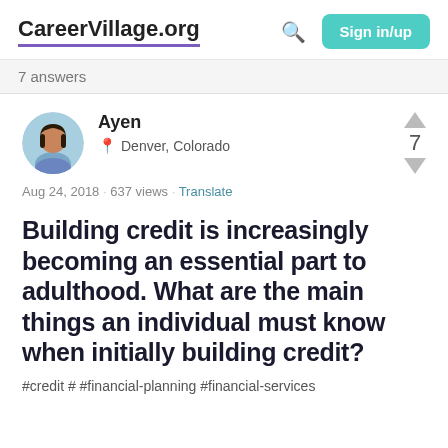CareerVillage.org  Sign in/up
7 answers
Ayen
Denver, Colorado
Aug 24, 2018 · 637 views · Translate
7
Building credit is increasingly becoming an essential part to adulthood. What are the main things an individual must know when initially building credit?
#credit # #financial-planning #financial-services